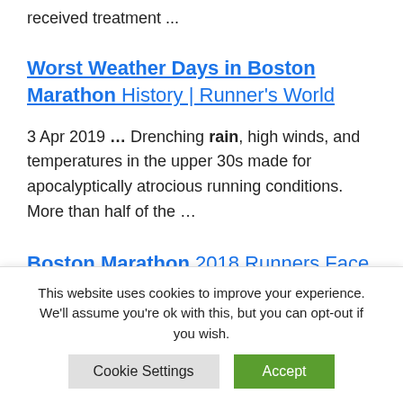received treatment ...
Worst Weather Days in Boston Marathon History | Runner's World
3 Apr 2019 ... Drenching rain, high winds, and temperatures in the upper 30s made for apocalyptically atrocious running conditions. More than half of the ...
Boston Marathon 2018 Runners Face Rain, Windy Weather | Time
This website uses cookies to improve your experience. We'll assume you're ok with this, but you can opt-out if you wish.